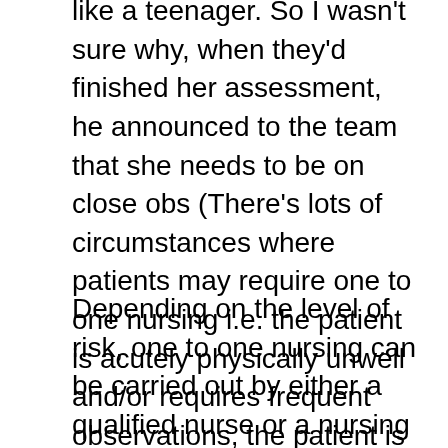like a teenager. So I wasn't sure why, when they'd finished her assessment, he announced to the team that she needs to be on close obs (There's lots of circumstances where patients may require one to one nursing i.e. the patient is acutely physically unwell and/or requires frequent observations, the patient is acutely mentally ill and/or at immediate risk of serious self harm/suicide etc).
Depending on the level of risk, one to one nursing can be carried out by either a qualified nurse or a nursing assistant. Pauline was classed as high risk of suicide so needed to be observed by a qualified nurse 24/7, which includes when the patient goes to the loo. This takes one person from the staff numbers i.e. reducing the amount of staff by one.